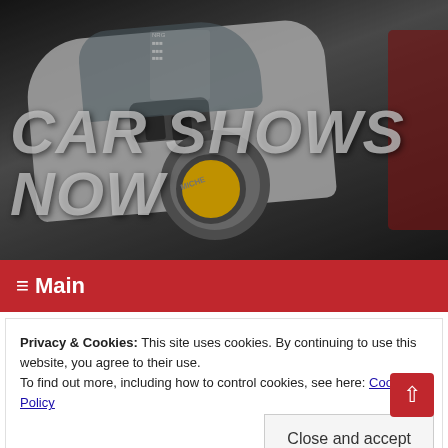[Figure (photo): Hero image of a white modified/race car (likely a Mitsubishi Lancer Evo or similar) with a large hood scoop, sponsor stickers including NRG and Michelin, viewed from a low front angle. Dark/moody background with another red car partially visible on the right.]
CAR SHOWS NOW
≡ Main
Privacy & Cookies: This site uses cookies. By continuing to use this website, you agree to their use.
To find out more, including how to control cookies, see here: Cookie Policy
Close and accept